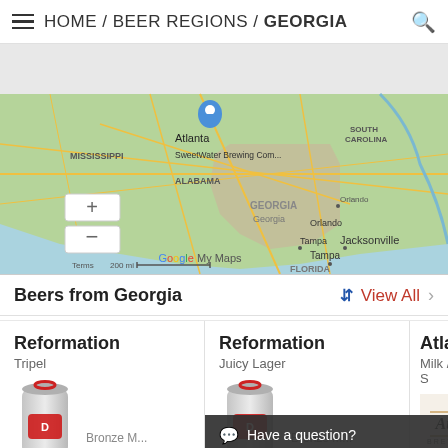≡ HOME / BEER REGIONS / GEORGIA 🔍
[Figure (map): Google My Maps showing southeastern United States with a blue pin on Atlanta, Georgia. Label reads 'SweetWater Brewing Com...' States visible include Mississippi, Alabama, Georgia, South Carolina. Cities: Jacksonville, Orlando, Tampa. Scale: 200 mi. Google My Maps branding visible.]
Beers from Georgia
View All
Reformation
Tripel
Bronze M...
Reformation
Juicy Lager
Bronze M...
Atlanta
Milk / Sweet S...
Have a question?